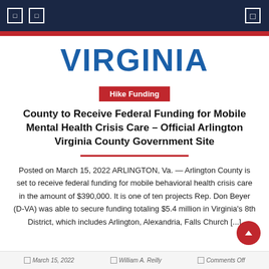VIRGINIA
Hike Funding
County to Receive Federal Funding for Mobile Mental Health Crisis Care – Official Arlington Virginia County Government Site
Posted on March 15, 2022 ARLINGTON, Va. — Arlington County is set to receive federal funding for mobile behavioral health crisis care in the amount of $390,000. It is one of ten projects Rep. Don Beyer (D-VA) was able to secure funding totaling $5.4 million in Virginia's 8th District, which includes Arlington, Alexandria, Falls Church [...]
March 15, 2022   William A. Reilly   Comments Off